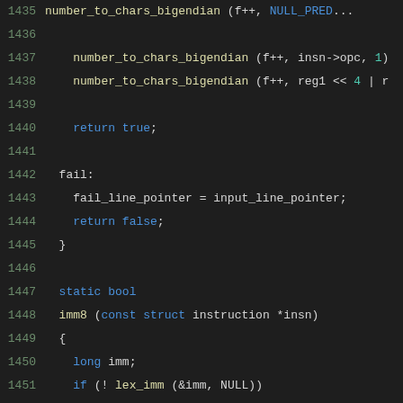Source code listing lines 1435-1456, C programming language code showing number_to_chars_bigendian calls, return true, fail label, fail_line_pointer assignment, return false, closing brace, static bool imm8 function definition, and inner logic with long imm, lex_imm check, range check for imm > 127 || imm < -128, as_bad call.